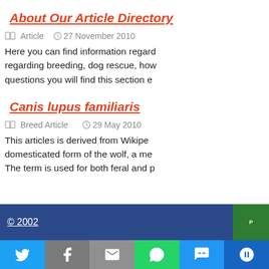About Our Article Directory
Article   27 November 2010
Here you can find information regard... regarding breeding, dog rescue, how ... questions you will find this section e...
Canis lupus familiaris
Breed Article   29 May 2010
This articles is derived from Wikipe... domesticated form of the wolf, a me... The term is used for both feral and p...
© 2002